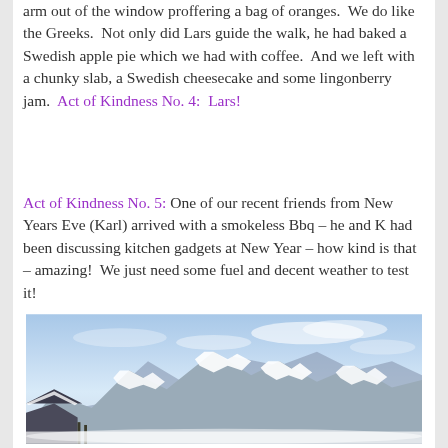arm out of the window proffering a bag of oranges.  We do like the Greeks.  Not only did Lars guide the walk, he had baked a Swedish apple pie which we had with coffee.  And we left with a chunky slab, a Swedish cheesecake and some lingonberry jam.  Act of Kindness No. 4:  Lars!
Act of Kindness No. 5: One of our recent friends from New Years Eve (Karl) arrived with a smokeless Bbq – he and K had been discussing kitchen gadgets at New Year – how kind is that – amazing!  We just need some fuel and decent weather to test it!
[Figure (photo): A snowy mountain landscape with snow-capped peaks under a blue sky, with a building/chalet roof visible in the lower left corner. Winter alpine scene.]